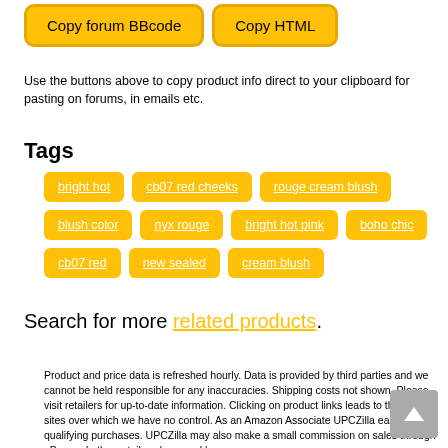Copy forum BBcode
Copy HTML
Use the buttons above to copy product info direct to your clipboard for pasting on forums, in emails etc.
Tags
bright hot
cb07 red cheeks
rouge cream blush
blush color
nyx rouge
bright hot pink
boho chic
cb07 red
new sealed
cream blush
Search for more related products.
Product and price data is refreshed hourly. Data is provided by third parties and we cannot be held responsible for any inaccuracies. Shipping costs not shown. Please visit retailers for up-to-date information. Clicking on product links leads to third-party sites over which we have no control. As an Amazon Associate UPCZilla earns from qualifying purchases. UPCZilla may also make a small commission on sales through eBay and other retailers (powered by